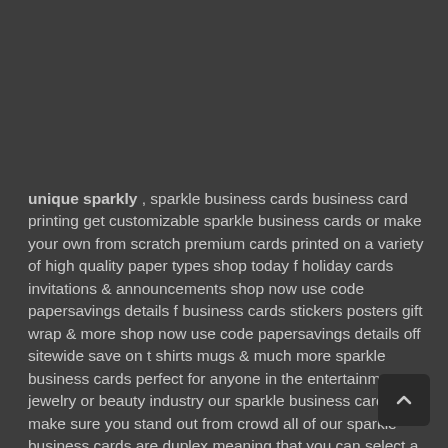unique sparkly , sparkle business cards business card printing get customizable sparkle business cards or make your own from scratch premium cards printed on a variety of high quality paper types shop today f holiday cards invitations & announcements shop now use code papersavings details f business cards stickers posters gift wrap & more shop now use code papersavings details off sitewide save on t shirts mugs & much more sparkle business cards perfect for anyone in the entertainment jewelry or beauty industry our sparkle business cards will make sure you stand out from crowd all of our sparkle business cards are duplex meaning that you can select a cardstock of your choice for the back of your card choose our 17pt smooth white uncoated for design flexibility or for maximum dazzle choose sparkle for both sides sparkle business cards let your business be anything but ordinary make your mark with sparkle business cards from zazzle choose from a range of themes and